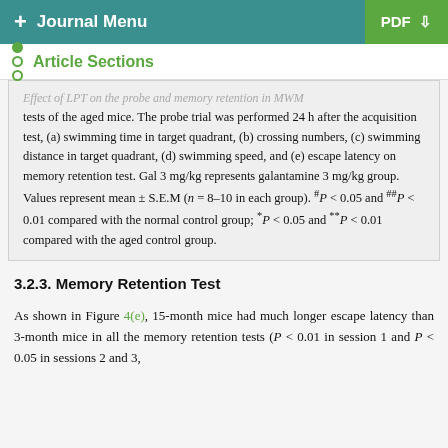+ Journal Menu   PDF ↓
Article Sections
Effect of LPT on the probe and memory retention in MWM tests of the aged mice. The probe trial was performed 24 h after the acquisition test, (a) swimming time in target quadrant, (b) crossing numbers, (c) swimming distance in target quadrant, (d) swimming speed, and (e) escape latency on memory retention test. Gal 3 mg/kg represents galantamine 3 mg/kg group. Values represent mean ± S.E.M (n = 8–10 in each group). #P < 0.05 and ##P < 0.01 compared with the normal control group; *P < 0.05 and **P < 0.01 compared with the aged control group.
3.2.3. Memory Retention Test
As shown in Figure 4(e), 15-month mice had much longer escape latency than 3-month mice in all the memory retention tests (P < 0.01 in session 1 and P < 0.05 in sessions 2 and 3,